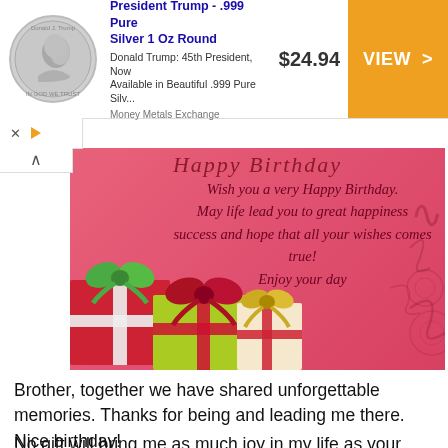[Figure (infographic): Advertisement banner for President Trump .999 Pure Silver 1 Oz Round coin. Shows coin image on left, product title and description text in middle, price $24.94, and orange VIEW > button on right. Money Metals Exchange as source.]
[Figure (photo): Birthday card image with pink/red background showing cursive text: 'Happy Birthday / Wish you a very Happy Birthday. / May life lead you to great happiness / success and hope that all your wishes comes true! / Enjoy your day'. Gift boxes in green and red with bows in the lower left.]
Brother, together we have shared unforgettable memories. Thanks for being and leading me there. Nice birthday!
No gift will bring me as much joy in my life as your presence has brought. My Brother's Happy